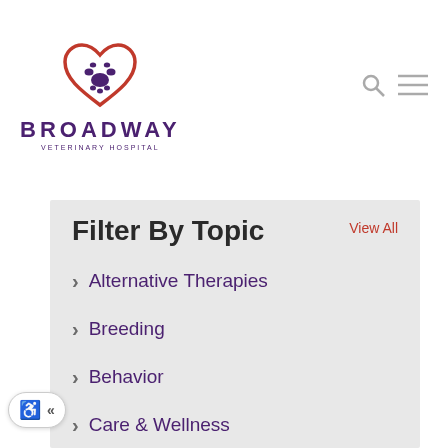[Figure (logo): Broadway Veterinary Hospital logo with a red heart outline containing a purple paw print, and text BROADWAY below]
Filter By Topic
View All
Alternative Therapies
Breeding
Behavior
Care & Wellness
Characteristics
Dental
Diseases (partial)